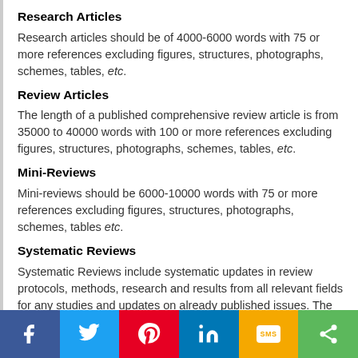Research Articles
Research articles should be of 4000-6000 words with 75 or more references excluding figures, structures, photographs, schemes, tables, etc.
Review Articles
The length of a published comprehensive review article is from 35000 to 40000 words with 100 or more references excluding figures, structures, photographs, schemes, tables, etc.
Mini-Reviews
Mini-reviews should be 6000-10000 words with 75 or more references excluding figures, structures, photographs, schemes, tables etc.
Systematic Reviews
Systematic Reviews include systematic updates in review protocols, methods, research and results from all relevant fields for any studies and updates on already published issues. The total number of words for a published systematic review is from 35000 to 40000 words with 100 or more references excluding figures, structures, photographs, schemes, tables etc. Systematic reviews